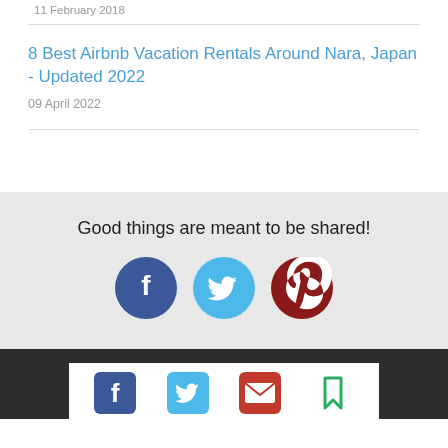11 February 2018
8 Best Airbnb Vacation Rentals Around Nara, Japan - Updated 2022
09 April 2022
Good things are meant to be shared!
[Figure (infographic): Social sharing buttons: Facebook (dark blue circle), Twitter (light blue circle), Pinterest (dark red circle)]
[Figure (infographic): Footer social icons on white background inside dark footer: Facebook (blue), Twitter (blue), Email (red envelope), Bookmark (green)]